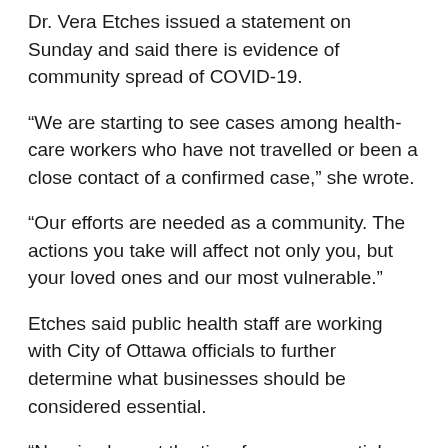Dr. Vera Etches issued a statement on Sunday and said there is evidence of community spread of COVID-19.
“We are starting to see cases among health-care workers who have not travelled or been a close contact of a confirmed case,” she wrote.
“Our efforts are needed as a community. The actions you take will affect not only you, but your loved ones and our most vulnerable.”
Etches said public health staff are working with City of Ottawa officials to further determine what businesses should be considered essential.
“Now is also not the time for non-essential excursions,” she said while encouraging people to refrain from visiting places like salons, clothing stores, tattoo parlours, gyms, banquet halls and conference centres.